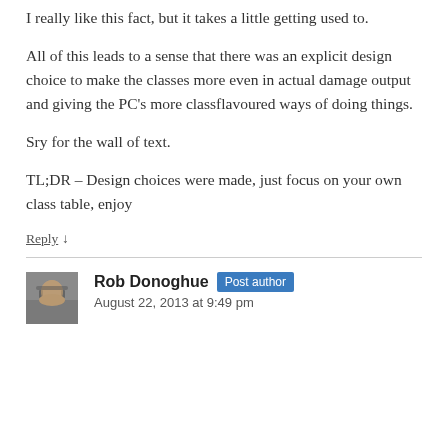I really like this fact, but it takes a little getting used to.
All of this leads to a sense that there was an explicit design choice to make the classes more even in actual damage output and giving the PC’s more classflavoured ways of doing things.
Sry for the wall of text.
TL;DR – Design choices were made, just focus on your own class table, enjoy
Reply ↓
Rob Donoghue  Post author
August 22, 2013 at 9:49 pm